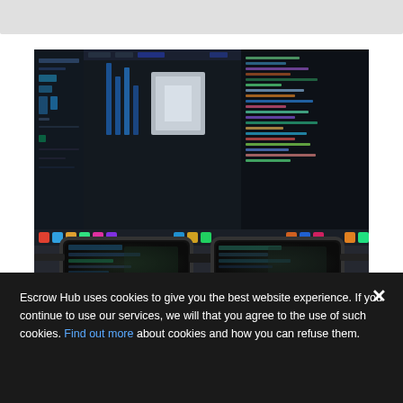[Figure (photo): A photograph of eyeglasses resting in front of a dark computer monitor displaying colorful code and data visualization software, with the code editor and multiple panels reflected in the lenses of the glasses.]
Escrow Hub uses cookies to give you the best website experience. If you continue to use our services, we will that you agree to the use of such cookies. Find out more about cookies and how you can refuse them.